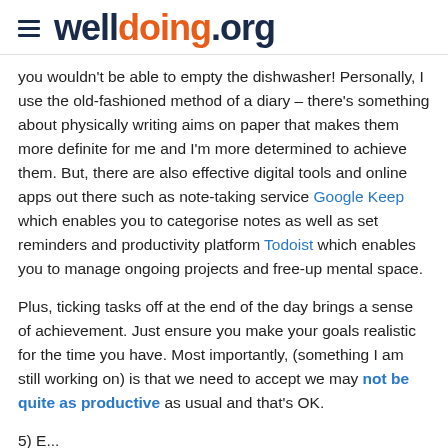welldoing.org
you wouldn't be able to empty the dishwasher! Personally, I use the old-fashioned method of a diary – there's something about physically writing aims on paper that makes them more definite for me and I'm more determined to achieve them. But, there are also effective digital tools and online apps out there such as note-taking service Google Keep which enables you to categorise notes as well as set reminders and productivity platform Todoist which enables you to manage ongoing projects and free-up mental space.
Plus, ticking tasks off at the end of the day brings a sense of achievement. Just ensure you make your goals realistic for the time you have. Most importantly, (something I am still working on) is that we need to accept we may not be quite as productive as usual and that's OK.
5) E...